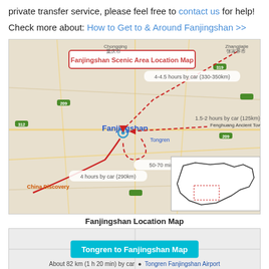private transfer service, please feel free to contact us for help!
Check more about: How to Get to & Around Fanjingshan >>
[Figure (map): Fanjingshan Scenic Area Location Map showing routes and distances from surrounding cities. Labels include: 4-4.5 hours by car (330-350km), 1.5-2 hours by car (125km), 50-70 minutes by ar (70-80km), 4 hours by car (290km). Inset shows location of region within China.]
Fanjingshan Location Map
[Figure (map): Tongren to Fanjingshan Map showing route, about 82 km (1 h 20 min) by car]